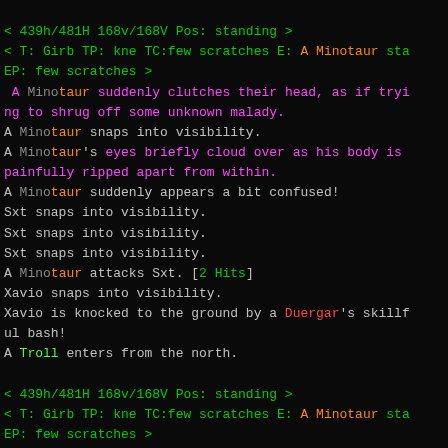< 439h/481H 168v/168V Pos: standing >
< T: Girb TP: kne TC:few scratches E: A Minotaur sta EP: few scratches >
A Minotaur suddenly clutches their head, as if trying to shrug off some unknown malady.
A Minotaur snaps into visibility.
A Minotaur's eyes briefly cloud over as his body is painfully ripped apart from within.
A Minotaur suddenly appears a bit confused!
Sxt snaps into visibility.
Sxt snaps into visibility.
Sxt snaps into visibility.
A Minotaur attacks Sxt. [2 Hits]
Xavio snaps into visibility.
Xavio is knocked to the ground by a Duergar's skillful bash!
A Troll enters from the north.
< 439h/481H 168v/168V Pos: standing >
< T: Girb TP: kne TC:few scratches E: A Minotaur sta EP: few scratches >
A wall of force crumbles to dust and blows away.
A Drider starts casting an offensive spell called 'negative concussion blast'.
A Troll snaps into visibility.